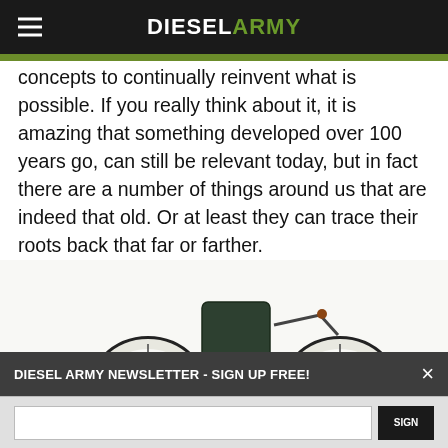DIESEL ARMY
concepts to continually reinvent what is possible. If you really think about it, it is amazing that something developed over 100 years go, can still be relevant today, but in fact there are a number of things around us that are indeed that old. Or at least they can trace their roots back that far or farther.
[Figure (photo): Vintage early automobile / quadricycle with four spoke wheels, upholstered seat with backrest, copper/brass accents, and a mechanical engine component on the right side, photographed on white background.]
DIESEL ARMY NEWSLETTER - SIGN UP FREE!